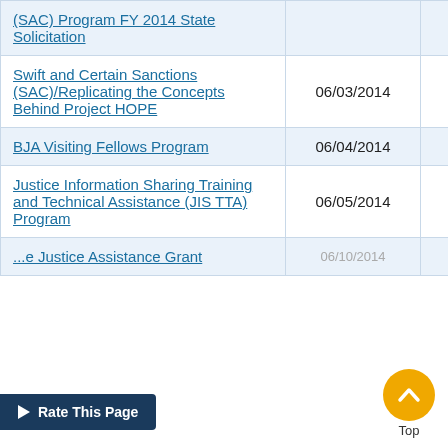| (SAC) Program FY 2014 State Solicitation |  |  |
| Swift and Certain Sanctions (SAC)/Replicating the Concepts Behind Project HOPE | 06/03/2014 | BJA |
| BJA Visiting Fellows Program | 06/04/2014 | BJA |
| Justice Information Sharing Training and Technical Assistance (JIS TTA) Program | 06/05/2014 | BJA |
| ...Justice Assistance Grant | 06/10/2014 | BJA |